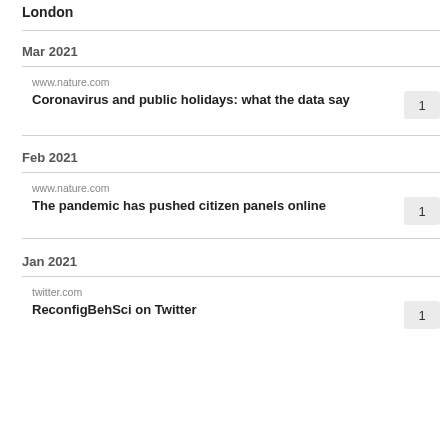London
Mar 2021
www.nature.com
Coronavirus and public holidays: what the data say
Feb 2021
www.nature.com
The pandemic has pushed citizen panels online
Jan 2021
twitter.com
ReconfigBehSci on Twitter